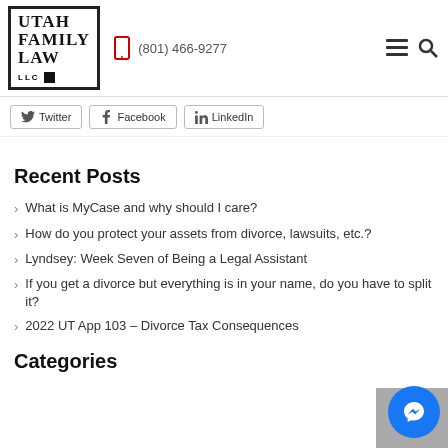[Figure (logo): Utah Family Law LLC logo with border and phone number (801) 466-9277, menu and search icons]
[Figure (infographic): Social share buttons: Twitter, Facebook, LinkedIn]
Recent Posts
What is MyCase and why should I care?
How do you protect your assets from divorce, lawsuits, etc.?
Lyndsey: Week Seven of Being a Legal Assistant
If you get a divorce but everything is in your name, do you have to split it?
2022 UT App 103 – Divorce Tax Consequences
Categories